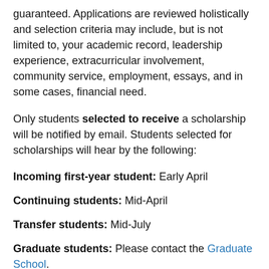guaranteed. Applications are reviewed holistically and selection criteria may include, but is not limited to, your academic record, leadership experience, extracurricular involvement, community service, employment, essays, and in some cases, financial need.
Only students selected to receive a scholarship will be notified by email. Students selected for scholarships will hear by the following:
Incoming first-year student: Early April
Continuing students: Mid-April
Transfer students: Mid-July
Graduate students: Please contact the Graduate School.
Waiting to Hear Back?